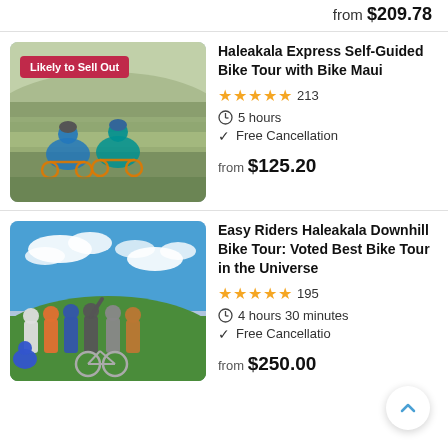from $209.78
[Figure (photo): Two cyclists on mountain bikes looking over a scenic landscape, with a 'Likely to Sell Out' badge overlay]
Haleakala Express Self-Guided Bike Tour with Bike Maui
★★★★★ 213
5 hours
Free Cancellation
from $125.20
[Figure (photo): Group of people posing with bikes on a green hillside under a blue sky with clouds]
Easy Riders Haleakala Downhill Bike Tour: Voted Best Bike Tour in the Universe
★★★★★ 195
4 hours 30 minutes
Free Cancellation
from $250.00